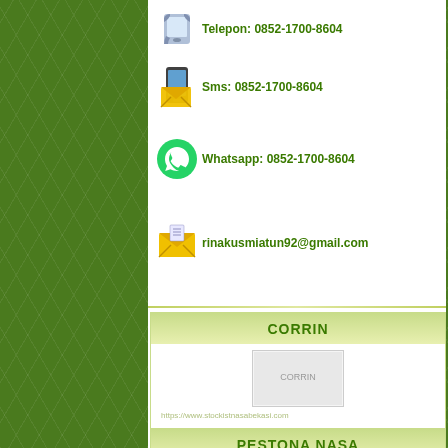Telepon: 0852-1700-8604
Sms: 0852-1700-8604
Whatsapp: 0852-1700-8604
rinakusmiatun92@gmail.com
CORRIN
[Figure (photo): CORRIN product image placeholder]
https://www.stockistnasabekasi.com
Rp 50.000
Stock : Tersedia
Kode Produk : CORRIN
PESTONA NASA